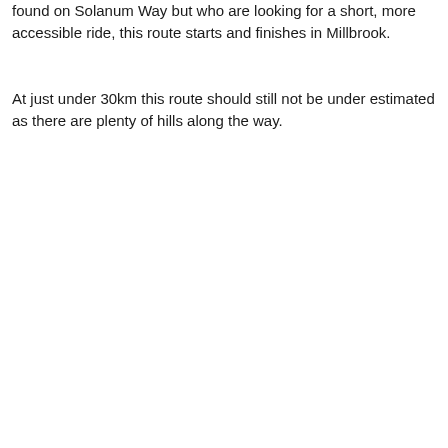found on Solanum Way but who are looking for a short, more accessible ride, this route starts and finishes in Millbrook.
At just under 30km this route should still not be under estimated as there are plenty of hills along the way.